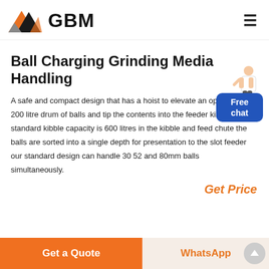GBM
Ball Charging Grinding Media Handling
A safe and compact design that has a hoist to elevate an opened 200 litre drum of balls and tip the contents into the feeder kibble standard kibble capacity is 600 litres in the kibble and feed chute the balls are sorted into a single depth for presentation to the slot feeder our standard design can handle 30 52 and 80mm balls simultaneously.
Get Price
Get a Quote   WhatsApp